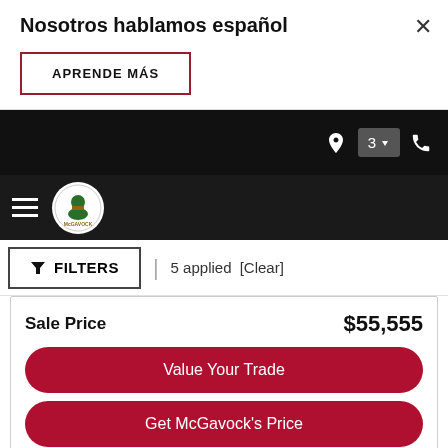Nosotros hablamos español
APRENDE MÁS
[Figure (screenshot): Black navigation bar with location icon, badge showing '3' with dropdown arrow, and phone icon]
[Figure (logo): McGavock dealership logo — circular emblem with figure and text]
▼ FILTERS | 5 applied [Clear]
Sale Price   $55,555
Value Your Trade
Get McGavock's Price